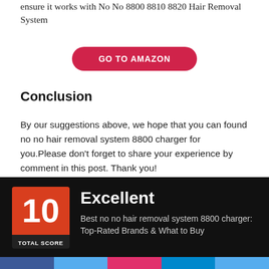ensure it works with No No 8800 8810 8820 Hair Removal System
[Figure (other): GO TO AMAZON button - red pill-shaped button with white bold text]
Conclusion
By our suggestions above, we hope that you can found no no hair removal system 8800 charger for you.Please don't forget to share your experience by comment in this post. Thank you!
[Figure (infographic): Rating box with score 10, TOTAL SCORE label, and Excellent heading. Text: Best no no hair removal system 8800 charger: Top-Rated Brands & What to Buy]